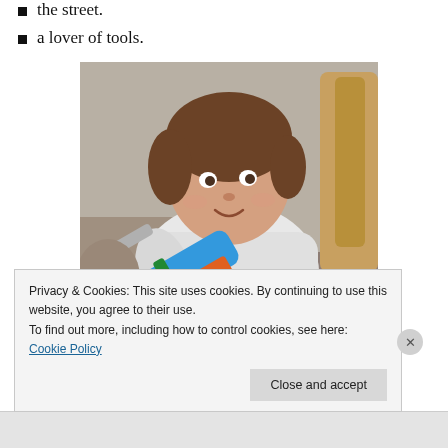the street.
a lover of tools.
[Figure (photo): A young child with brown hair, wearing a white long-sleeve shirt, holding a blue toy power drill (labeled 'Power Drill'). The child is looking upward and to the side. A wooden chair is visible in the background.]
Privacy & Cookies: This site uses cookies. By continuing to use this website, you agree to their use.
To find out more, including how to control cookies, see here: Cookie Policy
Close and accept